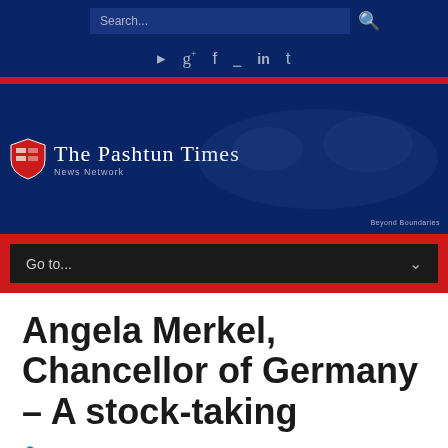Search... [search icon] [social icons: RSS, Google+, Facebook, email, LinkedIn, Tumblr]
[Figure (screenshot): The Pashtun Times website logo banner with navy blue background, red and shield logo, world map silhouette, and red navigation bar with 'Go to...' dropdown]
Angela Merkel, Chancellor of Germany – A stock-taking
Posted by: The Pashtun Times
in Latest News, Research Papers, Top Story-8
February 12, 2016  0